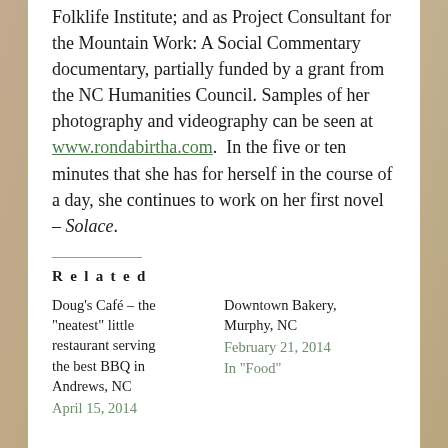Folklife Institute; and as Project Consultant for the Mountain Work: A Social Commentary documentary, partially funded by a grant from the NC Humanities Council. Samples of her photography and videography can be seen at www.rondabirtha.com.  In the five or ten minutes that she has for herself in the course of a day, she continues to work on her first novel – Solace.
Related
Doug's Café – the "neatest" little restaurant serving the best BBQ in Andrews, NC
April 15, 2014
Downtown Bakery, Murphy, NC
February 21, 2014
In "Food"